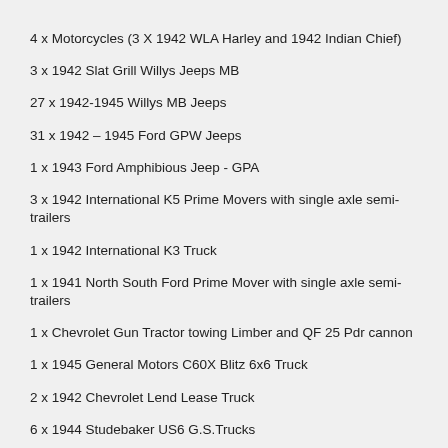4 x Motorcycles (3 X 1942 WLA Harley and 1942 Indian Chief)
3 x 1942 Slat Grill Willys Jeeps MB
27 x 1942-1945 Willys MB Jeeps
31 x 1942 – 1945 Ford GPW Jeeps
1 x 1943 Ford Amphibious Jeep - GPA
3 x 1942 International K5 Prime Movers with single axle semi-trailers
1 x 1942 International K3 Truck
1 x 1941 North South Ford Prime Mover with single axle semi-trailers
1 x Chevrolet Gun Tractor towing Limber and QF 25 Pdr cannon
1 x 1945 General Motors C60X Blitz 6x6 Truck
2 x 1942 Chevrolet Lend Lease Truck
6 x 1944 Studebaker US6 G.S.Trucks
1 x 1942 Yankee Joe G.S. Truck